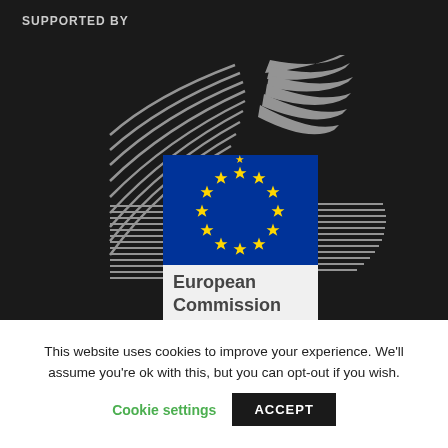SUPPORTED BY
[Figure (logo): European Commission logo: EU flag (blue rectangle with circle of 12 yellow stars) above white rectangle with text 'European Commission', flanked by stylized grey flag-stripe graphic on dark background]
This website uses cookies to improve your experience. We'll assume you're ok with this, but you can opt-out if you wish.
Cookie settings   ACCEPT